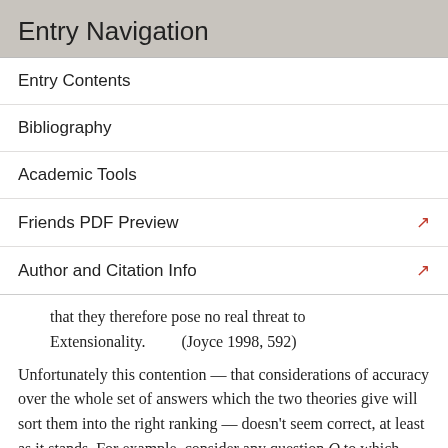Entry Navigation
Entry Contents
Bibliography
Academic Tools
Friends PDF Preview
Author and Citation Info
that they therefore pose no real threat to Extensionality.          (Joyce 1998, 592)
Unfortunately this contention — that considerations of accuracy over the whole set of answers which the two theories give will sort them into the right ranking — doesn't seem correct, at least as it stands. For example, consider any question Q to which Kepler's theory K and Copernicus's theory C are complete but false answers, and let the correct complete answer be T. Let P^K and P^C be the opinionated credal states corresponding to those